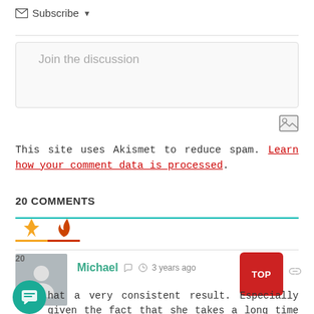✉ Subscribe ▼
Join the discussion
[Figure (other): Image upload icon button]
This site uses Akismet to reduce spam. Learn how your comment data is processed.
20 COMMENTS
[Figure (other): Sort tabs: lightning bolt (yellow) and flame (red) icons]
20 Michael  3 years ago  …hat a very consistent result. Especially given the fact that she takes a long time to release each studio albums. I was just